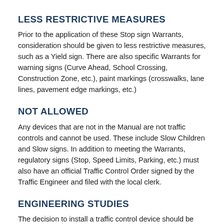LESS RESTRICTIVE MEASURES
Prior to the application of these Stop sign Warrants, consideration should be given to less restrictive measures, such as a Yield sign. There are also specific Warrants for warning signs (Curve Ahead, School Crossing, Construction Zone, etc.), paint markings (crosswalks, lane lines, pavement edge markings, etc.)
NOT ALLOWED
Any devices that are not in the Manual are not traffic controls and cannot be used. These include Slow Children and Slow signs. In addition to meeting the Warrants, regulatory signs (Stop, Speed Limits, Parking, etc.) must also have an official Traffic Control Order signed by the Traffic Engineer and filed with the local clerk.
ENGINEERING STUDIES
The decision to install a traffic control device should be made on the basis of an engineering study, the